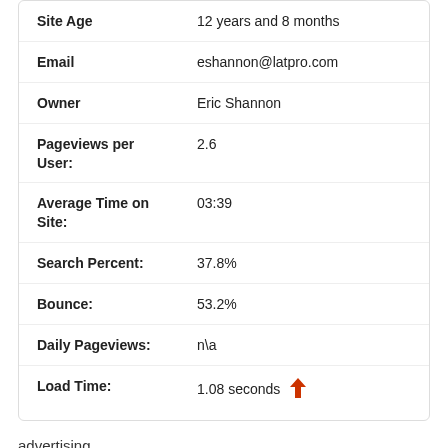| Field | Value |
| --- | --- |
| Site Age | 12 years and 8 months |
| Email | eshannon@latpro.com |
| Owner | Eric Shannon |
| Pageviews per User: | 2.6 |
| Average Time on Site: | 03:39 |
| Search Percent: | 37.8% |
| Bounce: | 53.2% |
| Daily Pageviews: | n\a |
| Load Time: | 1.08 seconds ↑ |
advertising